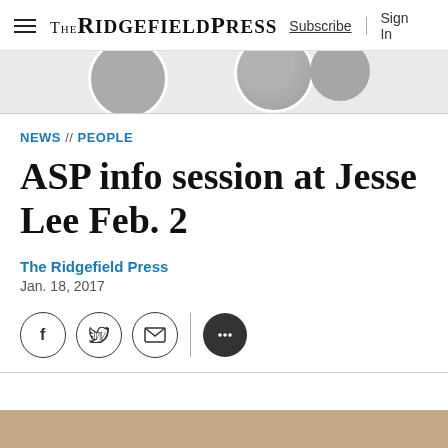THE RIDGEFIELD PRESS  Subscribe  Sign In
[Figure (photo): Partial circular portrait photos cropped at top, dark tones]
NEWS // PEOPLE
ASP info session at Jesse Lee Feb. 2
The Ridgefield Press
Jan. 18, 2017
[Figure (infographic): Social sharing icons: Facebook, Twitter, Email, and more (speech bubble) buttons]
[Figure (photo): Bottom edge of a photograph visible at page bottom]